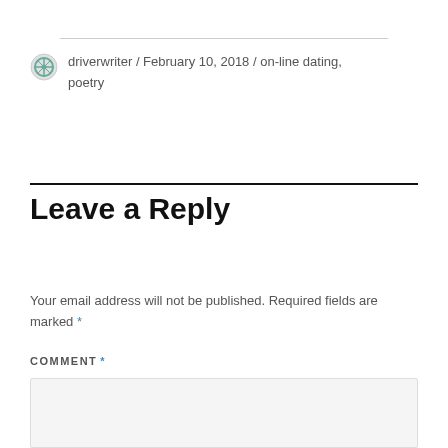driverwriter / February 10, 2018 / on-line dating, poetry
Leave a Reply
Your email address will not be published. Required fields are marked *
COMMENT *